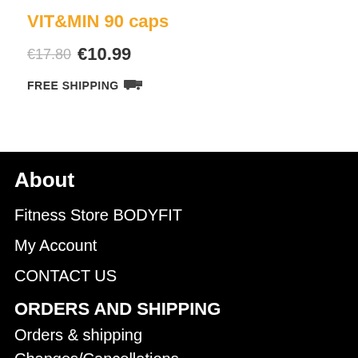VIT&MIN 90 caps
€17.80 €10.99
FREE SHIPPING 🚚
About
Fitness Store BODYFIT
My Account
CONTACT US
ORDERS AND SHIPPING
Orders & shipping
Changes/Cancellations